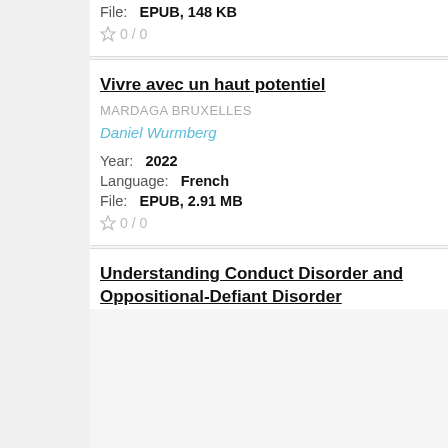File:  EPUB, 148 KB
0 / 0
Vivre avec un haut potentiel
MARDAGA BRUXELLES
Daniel Wurmberg
Year:  2022
Language:  French
File:  EPUB, 2.91 MB
0 / 0
Understanding Conduct Disorder and Oppositional-Defiant Disorder